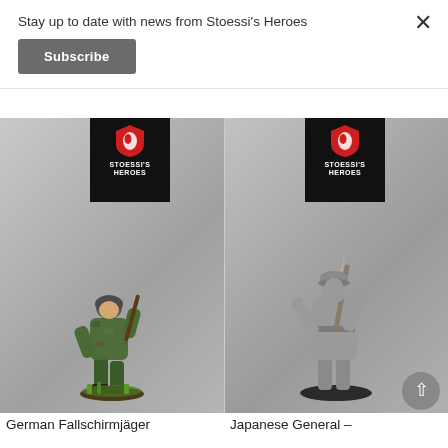Stay up to date with news from Stoessi's Heroes
Subscribe
[Figure (photo): Painted German Fallschirmjäger miniature figure in camouflage uniform on a grass base, with Stoessi's Heroes logo badge in corner]
[Figure (photo): Unpainted/grey resin Japanese General miniature figure in shorts holding a rifle, with Stoessi's Heroes logo badge in corner]
German Fallschirmjäger
Japanese General –